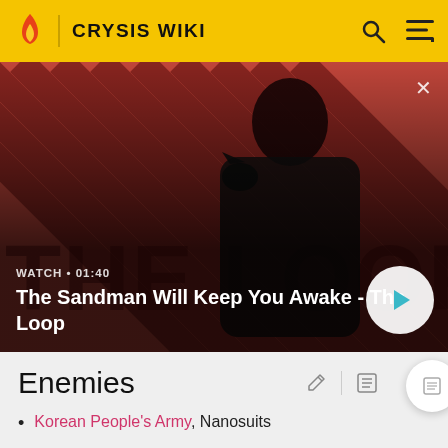CRYSIS WIKI
[Figure (screenshot): Video thumbnail for 'The Sandman Will Keep You Awake - The Loop' showing a dark-cloaked figure with a raven on shoulder against a red and dark diagonal striped background. Shows WATCH • 01:40 label and a play button.]
Enemies
Korean People's Army, Nanosuits
Ceph, Troopers, Scouts, Orange Scouts and non-Al